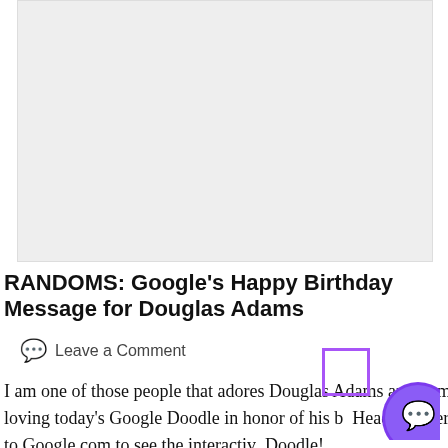[Figure (other): Gray placeholder image area at the top of the page]
RANDOMS: Google's Happy Birthday Message for Douglas Adams
Leave a Comment
I am one of those people that adores Douglas Adams and I am loving today's Google Doodle in honor of his b... Head on over to Google.com to see the interactive Doodle!